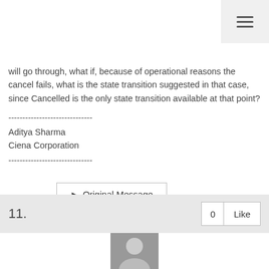will go through, what if, because of operational reasons the cancel fails, what is the state transition suggested in that case, since Cancelled is the only state transition available at that point?
------------------------------
Aditya Sharma
Ciena Corporation
------------------------------
➤ Original Message
11.
0  Like